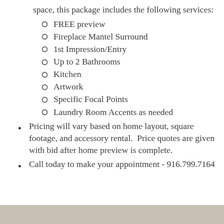space, this package includes the following services:
FREE preview
Fireplace Mantel Surround
1st Impression/Entry
Up to 2 Bathrooms
Kitchen
Artwork
Specific Focal Points
Laundry Room Accents as needed
Pricing will vary based on home layout, square footage, and accessory rental.  Price quotes are given with bid after home preview is complete.
Call today to make your appointment - 916.799.7164